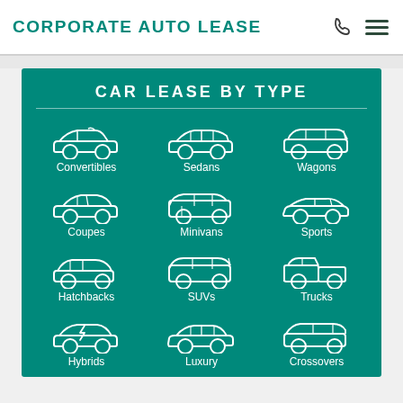CORPORATE AUTO LEASE
CAR LEASE BY TYPE
[Figure (infographic): 3x4 grid of car type icons with labels: Convertibles, Sedans, Wagons, Coupes, Minivans, Sports, Hatchbacks, SUVs, Trucks, Hybrids, Luxury, Crossovers. Each cell has a white outline car icon on teal background.]